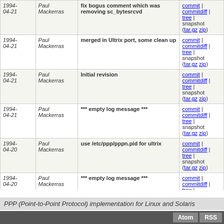| Date | Author | Message | Links |
| --- | --- | --- | --- |
| 1994-04-21 | Paul Mackerras | fix bogus comment which was removing sc_bytesrcvd | commit | commitdiff | tree | snapshot (tar.gz zip) |
| 1994-04-21 | Paul Mackerras | merged in Ultrix port, some clean up | commit | commitdiff | tree | snapshot (tar.gz zip) |
| 1994-04-21 | Paul Mackerras | Initial revision | commit | commitdiff | tree | snapshot (tar.gz zip) |
| 1994-04-21 | Paul Mackerras | *** empty log message *** | commit | commitdiff | tree | snapshot (tar.gz zip) |
| 1994-04-20 | Paul Mackerras | use /etc/ppp/pppn.pid for ultrix | commit | commitdiff | tree | snapshot (tar.gz zip) |
| 1994-04-20 | Paul Mackerras | *** empty log message *** | commit | commitdiff | tree | snapshot (tar.gz zip) |
| 1994-04-18 | Paul Mackerras | Initial revision | commit | commitdiff | tree | snapshot (tar.gz zip) |
| 1994-04-18 | Paul Mackerras | added sl_compress_setup; protect against multiple inclusion | commit | commitdiff | tree | snapshot (tar.gz zip) |
next
PPP (Point-to-Point Protocol) implementation for Linux and Solaris